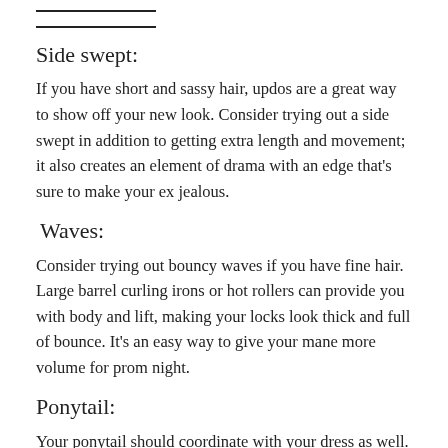Side swept:
If you have short and sassy hair, updos are a great way to show off your new look. Consider trying out a side swept in addition to getting extra length and movement; it also creates an element of drama with an edge that’s sure to make your ex jealous.
Waves:
Consider trying out bouncy waves if you have fine hair. Large barrel curling irons or hot rollers can provide you with body and lift, making your locks look thick and full of bounce. It’s an easy way to give your mane more volume for prom night.
Ponytail:
Your ponytail should coordinate with your dress as well. If